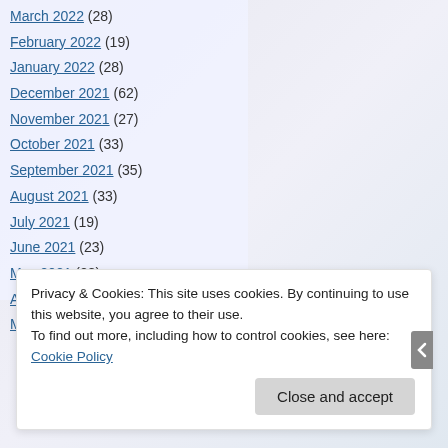March 2022 (28)
February 2022 (19)
January 2022 (28)
December 2021 (62)
November 2021 (27)
October 2021 (33)
September 2021 (35)
August 2021 (33)
July 2021 (19)
June 2021 (23)
May 2021 (28)
April 2021 (42)
March 2021 (44)
Privacy & Cookies: This site uses cookies. By continuing to use this website, you agree to their use. To find out more, including how to control cookies, see here: Cookie Policy
Close and accept